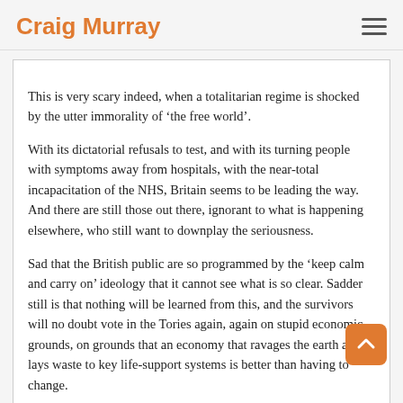Craig Murray
This is very scary indeed, when a totalitarian regime is shocked by the utter immorality of ‘the free world’.

With its dictatorial refusals to test, and with its turning people with symptoms away from hospitals, with the near-total incapacitation of the NHS, Britain seems to be leading the way. And there are still those out there, ignorant to what is happening elsewhere, who still want to downplay the seriousness.

Sad that the British public are so programmed by the ‘keep calm and carry on’ ideology that it cannot see what is so clear. Sadder still is that nothing will be learned from this, and the survivors will no doubt vote in the Tories again, again on stupid economic grounds, on grounds that an economy that ravages the earth and lays waste to key life-support systems is better than having to change.
March 18, 2020 at 17:09 REPLY #50941